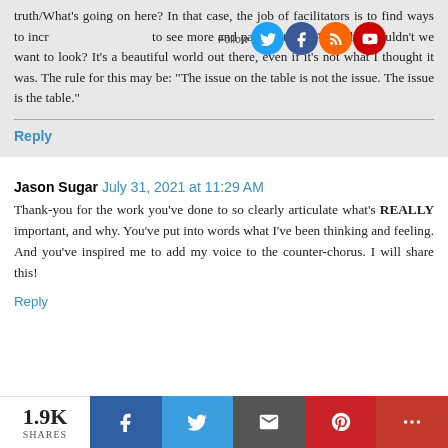truth/What's going on here? In that case, the job of facilitators is to find ways to increase or decrease to see more and pass that on...And why shouldn't we want to look? It's a beautiful world out there, even if it's not what I thought it was. The rule for this may be: "The issue on the table is not the issue. The issue is the table."
Reply
Jason Sugar  July 31, 2021 at 11:29 AM
Thank-you for the work you've done to so clearly articulate what's REALLY important, and why. You've put into words what I've been thinking and feeling. And you've inspired me to add my voice to the counter-chorus. I will share this!
Reply